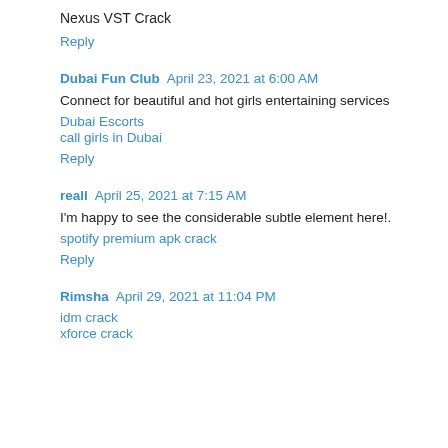Nexus VST Crack
Reply
Dubai Fun Club  April 23, 2021 at 6:00 AM
Connect for beautiful and hot girls entertaining services
Dubai Escorts
call girls in Dubai
Reply
reall  April 25, 2021 at 7:15 AM
I'm happy to see the considerable subtle element here!.
spotify premium apk crack
Reply
Rimsha  April 29, 2021 at 11:04 PM
idm crack
xforce crack